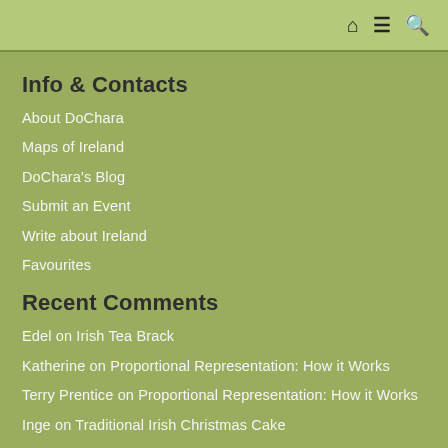Home | Menu | Search
Info & Contacts
About DoChara
Maps of Ireland
DoChara's Blog
Submit an Event
Write about Ireland
Favourites
Recent Comments
Edel on Irish Tea Brack
Katherine on Proportional Representation: How it Works
Terry Prentice on Proportional Representation: How it Works
Inge on Traditional Irish Christmas Cake
Inge on Traditional Irish Christmas Cake
Popular Today